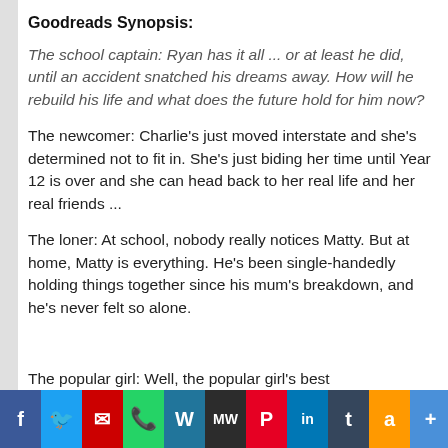Goodreads Synopsis:
The school captain: Ryan has it all ... or at least he did, until an accident snatched his dreams away. How will he rebuild his life and what does the future hold for him now?
The newcomer: Charlie's just moved interstate and she's determined not to fit in. She's just biding her time until Year 12 is over and she can head back to her real life and her real friends ...
The loner: At school, nobody really notices Matty. But at home, Matty is everything. He's been single-handedly holding things together since his mum's breakdown, and he's never felt so alone.
The popular girl: Well, the popular girl's best
[Figure (screenshot): Social media sharing bar with icons: Facebook, Twitter, Email, WhatsApp, WordPress, MeWe, Pinterest, LinkedIn, Tumblr, Amazon, Add]